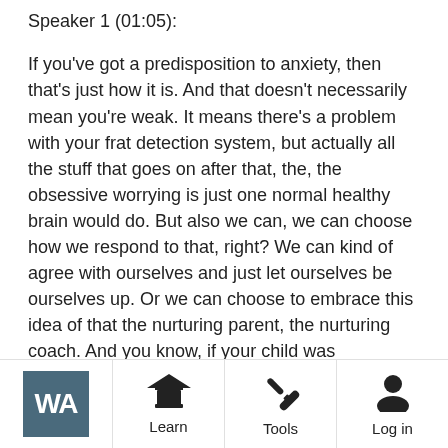Speaker 1 (01:05):
If you've got a predisposition to anxiety, then that's just how it is. And that doesn't necessarily mean you're weak. It means there's a problem with your frat detection system, but actually all the stuff that goes on after that, the, the obsessive worrying is just one normal healthy brain would do. But also we can, we can choose how we respond to that, right? We can kind of agree with ourselves and just let ourselves be ourselves up. Or we can choose to embrace this idea of that the nurturing parent, the nurturing coach. And you know, if your child was obsessively worrying, if you're a parent, if not, just imagine it. And they were like, Oh, just can't stop worrying about this. Would you say would you say just start worrying about that?
WA  Learn  Tools  Log in